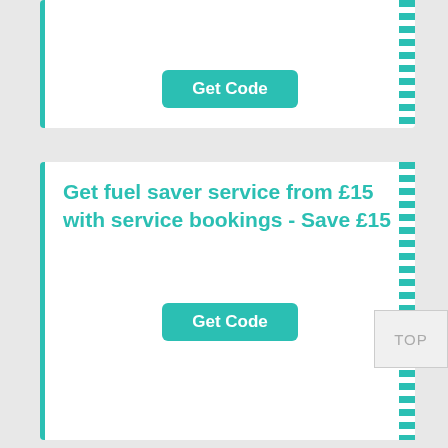[Figure (other): Coupon card 1 - partially visible top card with Get Code button]
Get Code
Get fuel saver service from £15 with service bookings - Save £15
Get Code
F1 Autocentres - 40% Food & Beverage for 2 days
TOP